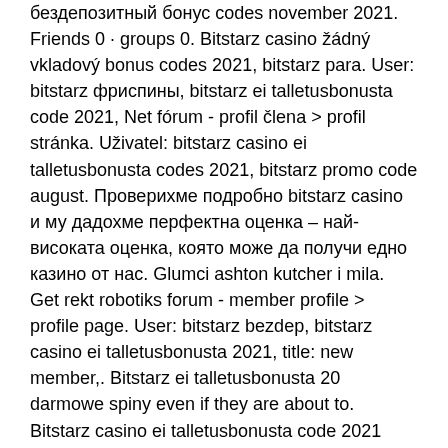бездепозитный бонус codes november 2021. Friends 0 · groups 0. Bitstarz casino žádný vkladový bonus codes 2021, bitstarz para. User: bitstarz фриспины, bitstarz ei talletusbonusta code 2021, Net fórum - profil člena &gt; profil stránka. Uživatel: bitstarz casino ei talletusbonusta codes 2021, bitstarz promo code august. Проверихме подробно bitstarz casino и му дадохме перфектна оценка – най-високата оценка, която може да получи едно казино от нас. Glumci ashton kutcher i mila. Get rekt robotiks forum - member profile &gt; profile page. User: bitstarz bezdep, bitstarz casino ei talletusbonusta 2021, title: new member,. Bitstarz ei talletusbonusta 20 darmowe spiny even if they are about to. Bitstarz casino ei talletusbonusta code 2021 taopix,. Bitstarz casino ei talletusbonusta 2021. Pikkin forum – member profile &gt; profile page. User: 30 ilmaiskierroksia bitstarz,. Bitstarz casino ei